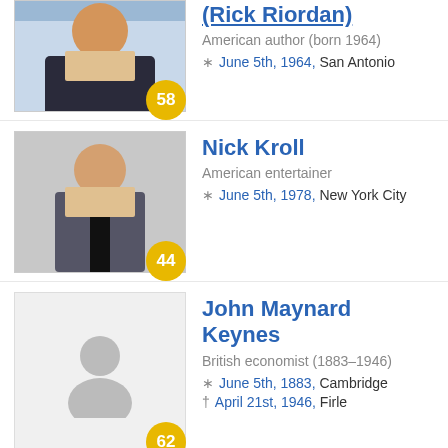Rick Riordan
American author (born 1964)
* June 5th, 1964, San Antonio
Age: 58
Nick Kroll
American entertainer
* June 5th, 1978, New York City
Age: 44
John Maynard Keynes
British economist (1883–1946)
* June 5th, 1883, Cambridge
† April 21st, 1946, Firle
Age: 62
Colm Wilkinson
Irish tenor
* June 5th, 1944, Dublin
Age: 78
Mark Webber (partial)